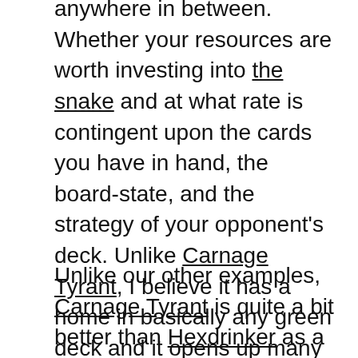anywhere in between. Whether your resources are worth investing into the snake and at what rate is contingent upon the cards you have in hand, the board-state, and the strategy of your opponent's deck. Unlike Carnage Tyrant, I believe it has a home in basically any green deck and it opens up many different lines of play, not just praying you get to six mana before you lose.
Unlike our other examples, Carnage Tyrant is quite a bit better than Hexdrinker as a six drop. I'm willing to sacrifice power at that specific slot in exchange for opening up different options along the curve. A sufficiently leveled Hexdrinker will end games just as effectively as Carnage Tyrant, even if it takes more mana